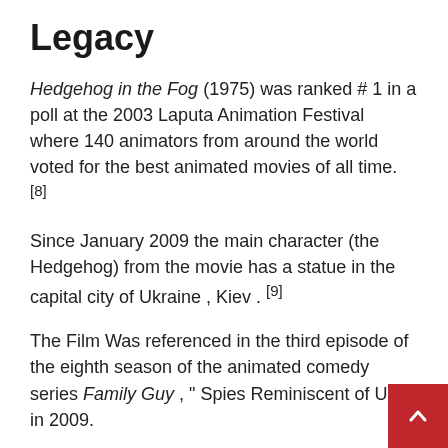Legacy
Hedgehog in the Fog (1975) was ranked # 1 in a poll at the 2003 Laputa Animation Festival where 140 animators from around the world voted for the best animated movies of all time. [8]
Since January 2009 the main character (the Hedgehog) from the movie has a statue in the capital city of Ukraine , Kiev . [9]
The Film Was referenced in the third episode of the eighth season of the animated comedy series Family Guy , " Spies Reminiscent of Us ," in 2009.